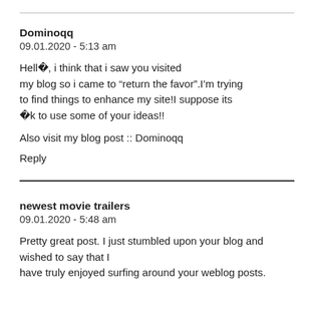Dominoqq
09.01.2020 - 5:13 am
Hell�, i think that i saw you visited my blog so i came to “return the favor”.I’m trying to find things to enhance my site!I suppose its �k to use some of your ideas!!
Also visit my blog post :: Dominoqq
Reply
newest movie trailers
09.01.2020 - 5:48 am
Pretty great post. I just stumbled upon your blog and wished to say that I have truly enjoyed surfing around your weblog posts.